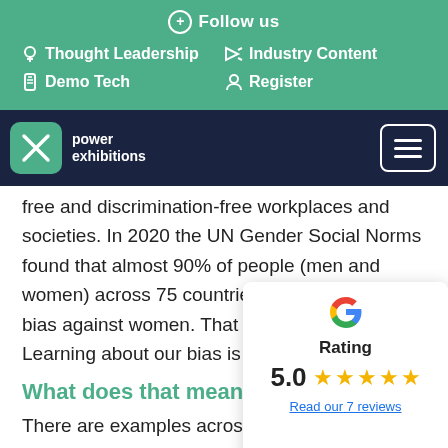Follow us
Thought Leadership
Industry Content
Demo Tech
Register
power exhibitions
free and discrimination-free workplaces and societies. In 2020 the UN Gender Social Norms found that almost 90% of people (men and women) across 75 countries, hold some sort of bias against women. That is staggeringly high. Learning about our bias is key.
What does that mean in p
There are examples across the g... The obvious ones are unequal pa... sexual harassment or the low numbers of women on boards
[Figure (infographic): Google rating popup showing 5.0 stars and a link to read 7 reviews]